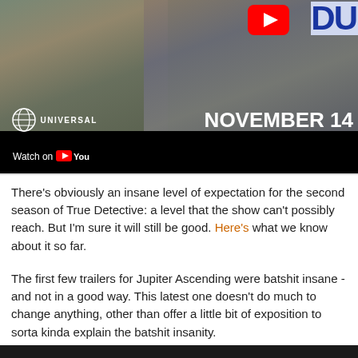[Figure (screenshot): YouTube video thumbnail showing two people outdoors with Universal Pictures logo, 'Watch on YouTube' text, and 'NOVEMBER 14' text overlay. YouTube play button visible top-right with partial 'DU' text.]
There's obviously an insane level of expectation for the second season of True Detective: a level that the show can't possibly reach. But I'm sure it will still be good. Here's what we know about it so far.
The first few trailers for Jupiter Ascending were batshit insane - and not in a good way. This latest one doesn't do much to change anything, other than offer a little bit of exposition to sorta kinda explain the batshit insanity.